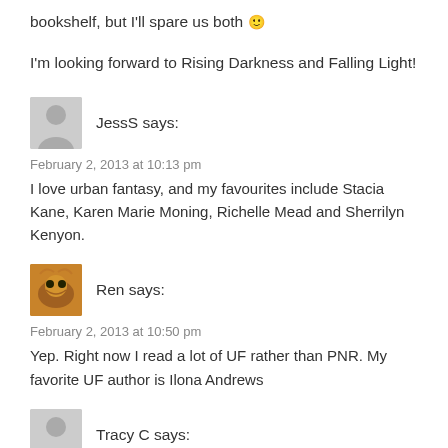bookshelf, but I'll spare us both 🙂
I'm looking forward to Rising Darkness and Falling Light!
JessS says:
February 2, 2013 at 10:13 pm
I love urban fantasy, and my favourites include Stacia Kane, Karen Marie Moning, Richelle Mead and Sherrilyn Kenyon.
Ren says:
February 2, 2013 at 10:50 pm
Yep. Right now I read a lot of UF rather than PNR. My favorite UF author is Ilona Andrews
Tracy C says:
February 2, 2013 at 11:26 pm
Yes. Right now I read a lot of Patricia Briggs and Ilona Andrews.